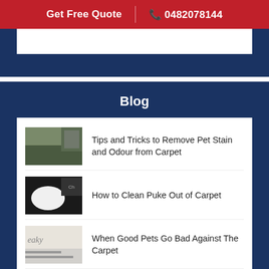Get Free Quote  |  📞 0482078144
Blog
Tips and Tricks to Remove Pet Stain and Odour from Carpet
How to Clean Puke Out of Carpet
When Good Pets Go Bad Against The Carpet
Steps For Carpet Deep Cleaning